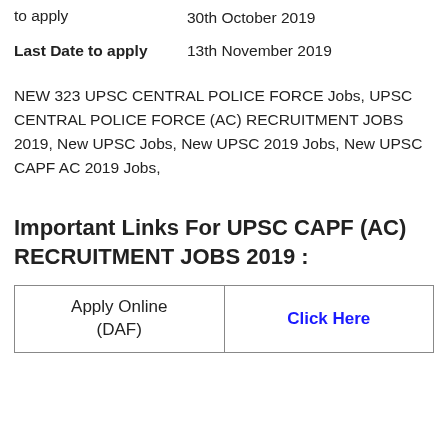to apply   30th October 2019
Last Date to apply   13th November 2019
NEW 323 UPSC CENTRAL POLICE FORCE Jobs, UPSC CENTRAL POLICE FORCE (AC) RECRUITMENT JOBS 2019, New UPSC Jobs, New UPSC 2019 Jobs, New UPSC CAPF AC 2019 Jobs,
Important Links For UPSC CAPF (AC) RECRUITMENT JOBS 2019 :
| Apply Online (DAF) | Click Here |
| --- | --- |
| Apply Online (DAF) | Click Here |